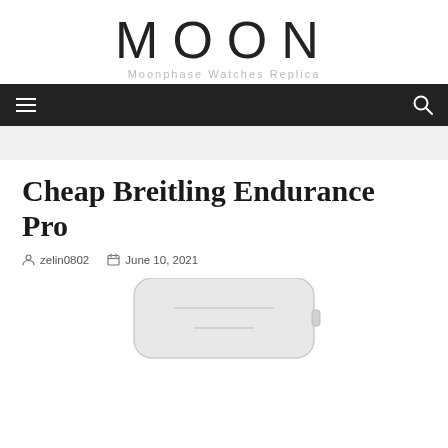MOON – Moonphase Watches Replica
Cheap Breitling Endurance Pro
zelin0802  June 10, 2021
[Figure (photo): Partial view of a Breitling Endurance Pro watch in a light-colored case, visible at the bottom of the page]